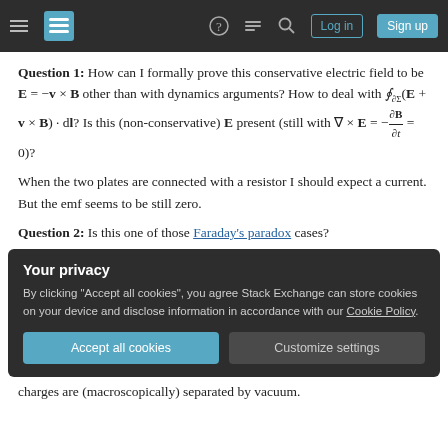Stack Exchange navigation bar with hamburger menu, logo, icons (question mark, chat, search), Log in and Sign up buttons
Question 1: How can I formally prove this conservative electric field to be E = −v × B other than with dynamics arguments? How to deal with ∮∂Σ(E + v × B) · dl? Is this (non-conservative) E present (still with ∇ × E = −∂B/∂t = 0)?
When the two plates are connected with a resistor I should expect a current. But the emf seems to be still zero.
Question 2: Is this one of those Faraday's paradox cases?
Your privacy
By clicking "Accept all cookies", you agree Stack Exchange can store cookies on your device and disclose information in accordance with our Cookie Policy.
Accept all cookies  Customize settings
charges are (macroscopically) separated by vacuum.